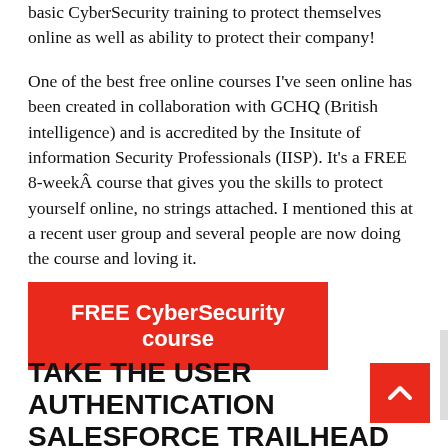basic CyberSecurity training to protect themselves online as well as ability to protect their company!
One of the best free online courses I've seen online has been created in collaboration with GCHQ (British intelligence) and is accredited by the Insitute of information Security Professionals (IISP). It's a FREE 8-weekÂ course that gives you the skills to protect yourself online, no strings attached. I mentioned this at a recent user group and several people are now doing the course and loving it.
FREE CyberSecurity course
TAKE THE USER AUTHENTICATION SALESFORCE TRAILHEAD